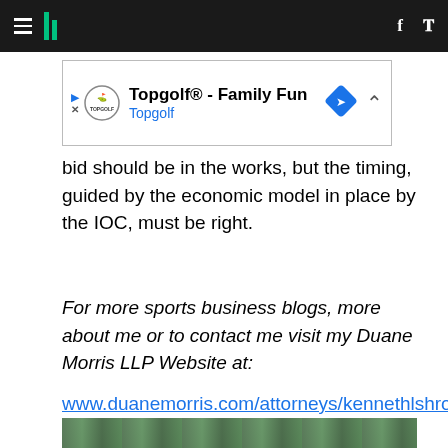HuffPost navigation header with hamburger menu, logo, Facebook and Twitter icons
[Figure (other): Topgolf advertisement banner: Topgolf® - Family Fun, Topgolf logo, navigation arrow diamond icon]
bid should be in the works, but the timing, guided by the economic model in place by the IOC, must be right.
For more sports business blogs, more about me or to contact me visit my Duane Morris LLP Website at:
www.duanemorris.com/attorneys/kennethlshropshire.
[Figure (other): < GO TO HOMEPAGE button in teal/green color]
[Figure (photo): Photo strip at bottom of page showing trees/outdoor scene]